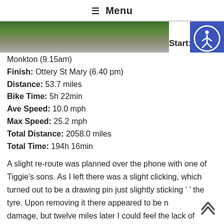☰ Menu
[Figure (photo): Outdoor photo showing a path/road with greenery, partially visible at the top of the page. A 'Start: W' label appears to the right of the photo.]
Start: W
Monkton (9.15am)
Finish: Ottery St Mary (6.40 pm)
Distance: 53.7 miles
Bike Time: 5h 22min
Ave Speed: 10.0 mph
Max Speed: 25.2 mph
Total Distance: 2058.0 miles
Total Time: 194h 16min
A slight re-route was planned over the phone with one of Tiggie's sons.  As I left  there was a slight clicking, which turned out to be a drawing pin just slightly sticking in the tyre.  Upon removing it there appeared to be no damage, but twelve miles later I could feel the lack of pressure and needed to change the inner tube. It was